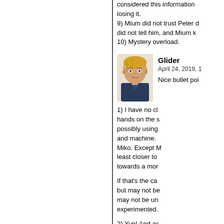considered this information ... losing it.
9) Mium did not trust Peter d... did not tell him, and Mium k...
10) Mystery overload.
[Figure (illustration): Anime-style character avatar with blonde hair and blue jacket]
Glider
April 24, 2019, 1...
Nice bullet poi...
1) I have no cl... hands on the s... possibly using ... and machine. ... Miko. Except M... least closer to... towards a mor...
If that's the ca... but may not be... may not be un... experimented.
2) Yup! And as... Martin is a hall...
3) I believe Pe... is why Ila knew... assumed nam...
4) I think it is M...